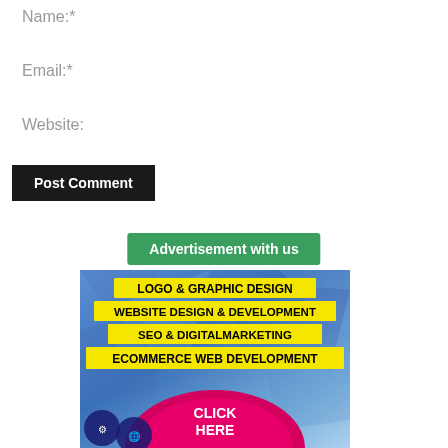Name:*
Email:*
Website:
Post Comment
Advertisement with us
[Figure (infographic): Advertisement banner with blue polygonal background, yellow bold text lines: LOGO & GRAPHIC DESIGN, WEBSITE DESIGN & DEVELOPMENT, SEO & DIGITALMARKETING, ECOMMERCE WEB DEVELOPMENT, with a pink/magenta circle at bottom showing CLICK HERE text and social media icons.]